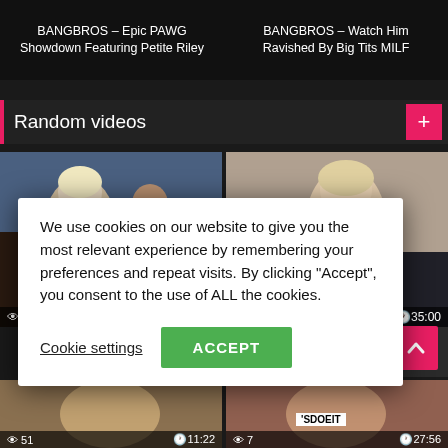BANGBROS – Epic PAWG Showdown Featuring Petite Riley
BANGBROS – Watch Him Ravished By Big Tits MILF
Random videos
[Figure (screenshot): Video thumbnail 1 showing two people outdoors, views: 10, duration: 35:12]
[Figure (screenshot): Video thumbnail 2 showing a person indoors, views: 6, duration: 35:00]
0%
y of Kai and Gerda!
[Figure (screenshot): Video thumbnail 3, views: 51, duration: 11:22]
[Figure (screenshot): Video thumbnail 4 with SDOEIT branding, views: 7, duration: 27:56]
We use cookies on our website to give you the most relevant experience by remembering your preferences and repeat visits. By clicking “Accept”, you consent to the use of ALL the cookies.
Cookie settings
ACCEPT